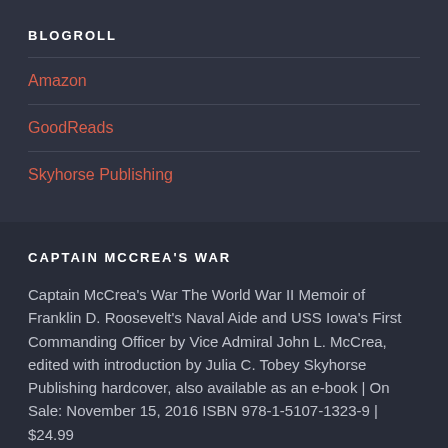BLOGROLL
Amazon
GoodReads
Skyhorse Publishing
CAPTAIN MCCREA'S WAR
Captain McCrea's War The World War II Memoir of Franklin D. Roosevelt's Naval Aide and USS Iowa's First Commanding Officer by Vice Admiral John L. McCrea, edited with introduction by Julia C. Tobey Skyhorse Publishing hardcover, also available as an e-book | On Sale: November 15, 2016 ISBN 978-1-5107-1323-9 | $24.99